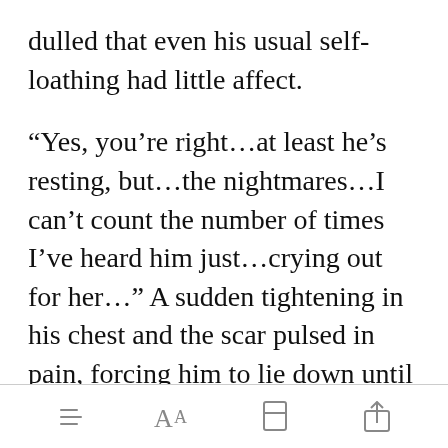dulled that even his usual self-loathing had little affect.
“Yes, you’re right…at least he’s resting, but…the nightmares…I can’t count the number of times I’ve heard him just…crying out for her…” A sudden tightening in his chest and the scar pulsed in pain, forcing him to lie down until it passed over. “[Open in app]ur
[menu] [font] [bookmark] [share]